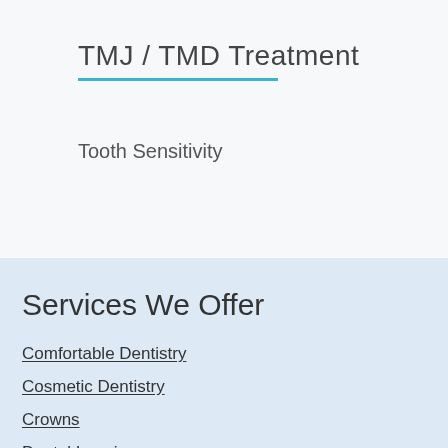TMJ / TMD Treatment
Tooth Sensitivity
Services We Offer
Comfortable Dentistry
Cosmetic Dentistry
Crowns
Dental Imaging